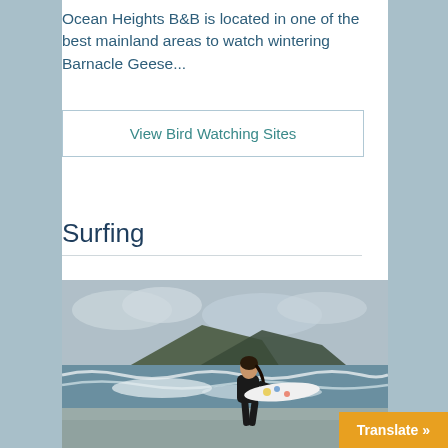Ocean Heights B&B is located in one of the best mainland areas to watch wintering Barnacle Geese...
View Bird Watching Sites
Surfing
[Figure (photo): A surfer in a black wetsuit walking along a beach carrying a white surfboard, with waves and a rocky headland visible in the background on a cloudy day.]
Translate »